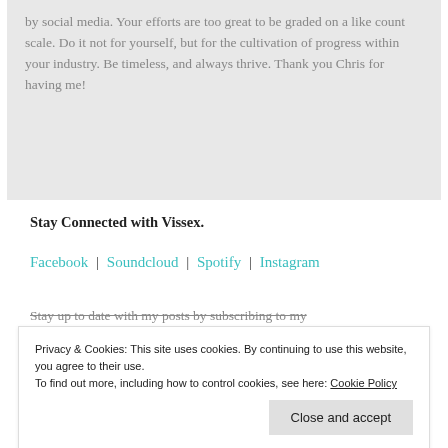by social media. Your efforts are too great to be graded on a like count scale. Do it not for yourself, but for the cultivation of progress within your industry. Be timeless, and always thrive. Thank you Chris for having me!
Stay Connected with Vissex.
Facebook | Soundcloud | Spotify | Instagram
Stay up to date with my posts by subscribing to my...
Privacy & Cookies: This site uses cookies. By continuing to use this website, you agree to their use.
To find out more, including how to control cookies, see here: Cookie Policy
Close and accept